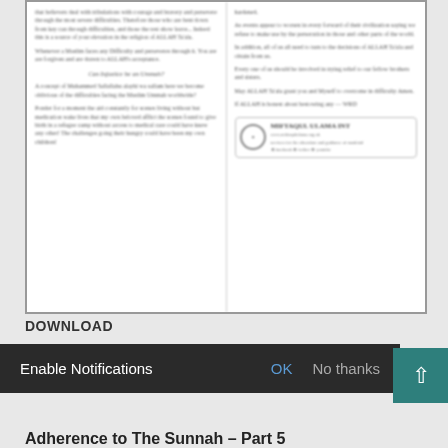[Figure (screenshot): Blurred two-column Islamic article document with text about difficulties, patience, and reliance on Allah. Right column contains a badge/seal with organization name MIFTAQUL ULAMA INTERNATIONAL.]
DOWNLOAD
Read More »
Enable Notifications
OK
No thanks
Adherence to The Sunnah – Part 5